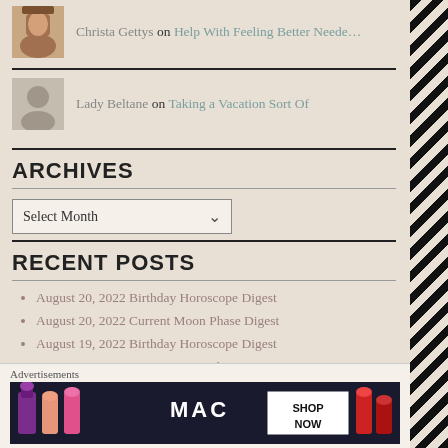Christa Gettys on Help With Feeling Better Neede…
Lady Beltane on Taking a Vacation Sort Of
ARCHIVES
Select Month
RECENT POSTS
August 20, 2022 Birthday Horoscope Digest
August 20, 2022 Current Moon Phase Digest
August 19, 2022 Birthday Horoscope Digest
August 19, 2022 Current Moon Phase Digest
August 18, 2022 Birthday Horoscope Digest
[Figure (photo): MAC cosmetics advertisement banner showing lipsticks with SHOP NOW button]